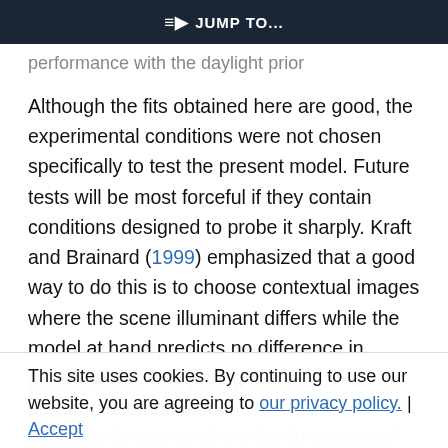≡D JUMP TO...
performance with the daylight prior
Although the fits obtained here are good, the experimental conditions were not chosen specifically to test the present model. Future tests will be most forceful if they contain conditions designed to probe it sharply. Kraft and Brainard (1999) emphasized that a good way to do this is to choose contextual images where the scene illuminant differs while the model at hand predicts no difference in performance. Comparing human performance and model
prediction for scenes where the illuminant and scene spectral functions are chosen to deviate substantially from those captured by our linear-model-based priors might also provide useful
This site uses cookies. By continuing to use our website, you are agreeing to our privacy policy. Accept